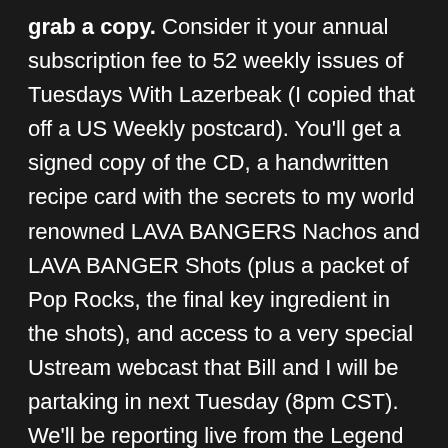grab a copy.  Consider it your annual subscription fee to 52 weekly issues of Tuesdays With Lazerbeak (I copied that off a US Weekly postcard).  You'll get a signed copy of the CD, a handwritten recipe card with the secrets to my world renowned LAVA BANGERS Nachos and LAVA BANGER Shots (plus a packet of Pop Rocks, the final key ingredient in the shots), and access to a very special Ustream webcast that Bill and I will be partaking in next Tuesday (8pm CST).  We'll be reporting live from the Legend Lair; playing some new joints, answering every and all query, and cooking up a serious storm.  Plus we'll email you a digital copy of the record on the 24th.  More than any of that other stuff though, I guess the real number one reason why should pre-order this thing is so I don't get stuck with the heavy burden of eating all the